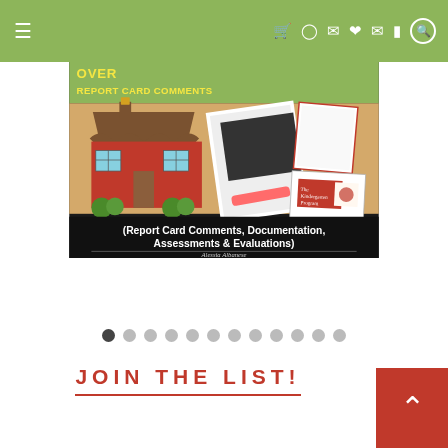Navigation bar with hamburger menu, cart, instagram, twitter, pinterest, heart, email, facebook icons, and search
[Figure (photo): Product cover image showing 'Report Card Comments, Documentation, Assessments & Evaluations' educational resource by Alessia Albanese, featuring a cartoon schoolhouse, and photos of physical documents/books on a wooden surface]
[Figure (other): Slideshow pagination dots — 12 dots, first one active/dark]
JOIN THE LIST!